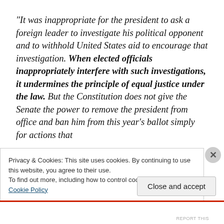“It was inappropriate for the president to ask a foreign leader to investigate his political opponent and to withhold United States aid to encourage that investigation. When elected officials inappropriately interfere with such investigations, it undermines the principle of equal justice under the law. But the Constitution does not give the Senate the power to remove the president from office and ban him from this year’s ballot simply for actions that
Privacy & Cookies: This site uses cookies. By continuing to use this website, you agree to their use.
To find out more, including how to control cookies, see here: Cookie Policy